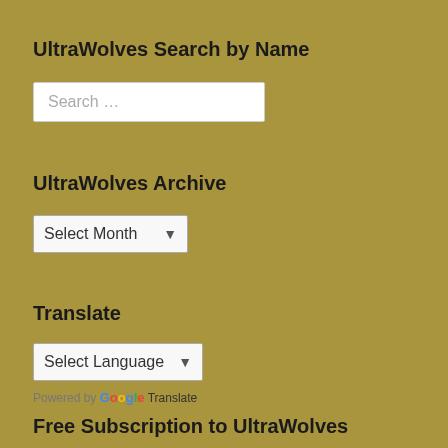UltraWolves Search by Name
[Figure (screenshot): Search input box with placeholder text 'Search …']
UltraWolves Archive
[Figure (screenshot): Dropdown select menu with 'Select Month' option]
Translate
[Figure (screenshot): Dropdown select menu with 'Select Language' option]
Powered by Google Translate
Free Subscription to UltraWolves